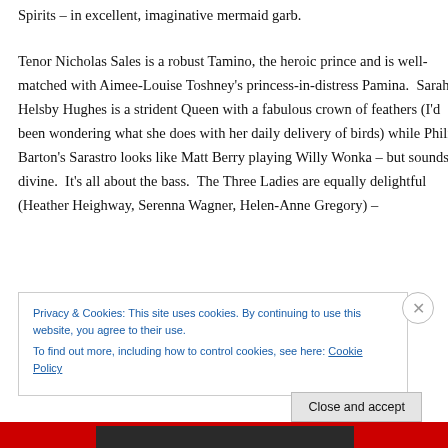Spirits – in excellent, imaginative mermaid garb.
Tenor Nicholas Sales is a robust Tamino, the heroic prince and is well-matched with Aimee-Louise Toshney's princess-in-distress Pamina.  Sarah Helsby Hughes is a strident Queen with a fabulous crown of feathers (I'd been wondering what she does with her daily delivery of birds) while Philip Barton's Sarastro looks like Matt Berry playing Willy Wonka – but sounds divine.  It's all about the bass.  The Three Ladies are equally delightful (Heather Heighway, Serenna Wagner, Helen-Anne Gregory) –
Privacy & Cookies: This site uses cookies. By continuing to use this website, you agree to their use.
To find out more, including how to control cookies, see here: Cookie Policy
Close and accept